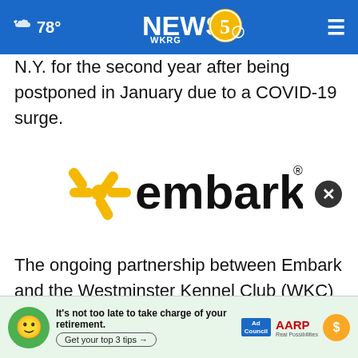78° NEWS 5 WKRG
N.Y. for the second year after being postponed in January due to a COVID-19 surge.
[Figure (logo): Embark logo — yellow dog-like icon with bold black text reading 'embark' with registered trademark symbol]
The ongoing partnership between Embark and the Westminster Kennel Club (WKC) he to prese y of dog breeds. Through education and awareness
[Figure (infographic): AARP advertisement banner: green smiley face, 'It's not too late to take charge of your retirement. Get your top 3 tips', Ad Council logo, AARP logo, yellow sun icon with dollar sign. Close button (X) overlaid on main text.]